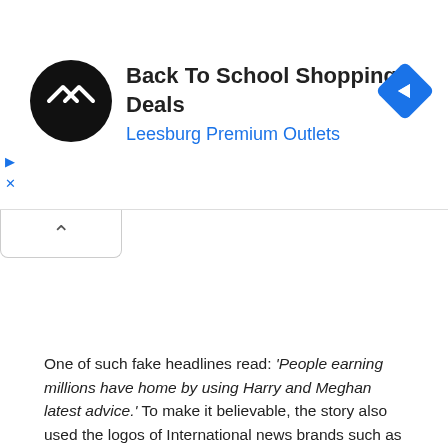[Figure (screenshot): Advertisement banner for 'Back To School Shopping Deals' at Leesburg Premium Outlets, with a black circular logo with double arrow symbol, and a blue diamond map/directions icon on the right. Small play and close icons on the left side.]
[Figure (screenshot): A collapse/minimize tab with an upward caret symbol below the ad banner.]
One of such fake headlines read: ‘People earning millions have home by using Harry and Meghan latest advice.’ To make it believable, the story also used the logos of International news brands such as the Mail, the BBC, the